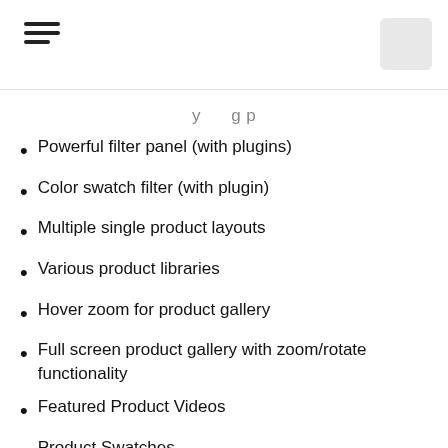Powerful filter panel (with plugins)
Color swatch filter (with plugin)
Multiple single product layouts
Various product libraries
Hover zoom for product gallery
Full screen product gallery with zoom/rotate functionality
Featured Product Videos
Product Swatches
product sticker
Extensive product description
Shopping cart panel with AJAX quantity control
Category mode (disables e-commerce functionality)